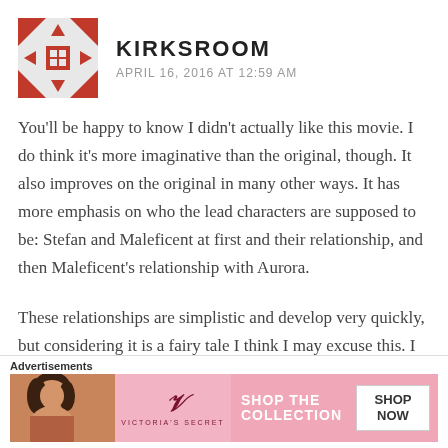KIRKSROOM
APRIL 16, 2016 AT 12:59 AM
You'll be happy to know I didn't actually like this movie. I do think it's more imaginative than the original, though. It also improves on the original in many other ways. It has more emphasis on who the lead characters are supposed to be: Stefan and Maleficent at first and their relationship, and then Maleficent's relationship with Aurora.
These relationships are simplistic and develop very quickly, but considering it is a fairy tale I think I may excuse this. I don't like how thin Maleficent's backstory
Advertisements
[Figure (photo): Victoria's Secret advertisement banner showing a model and 'SHOP THE COLLECTION / SHOP NOW' call to action]